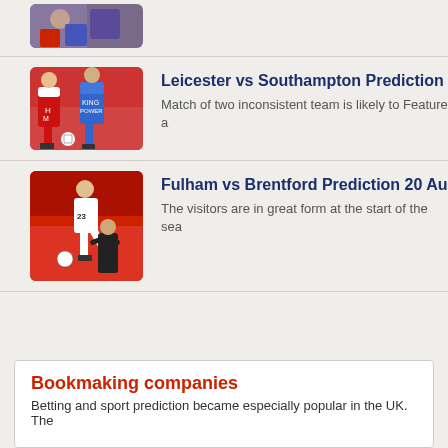[Figure (photo): Partial photo of football players in blue/purple jerseys at top of page]
[Figure (photo): Photo of Leicester vs Southampton football match with players in red/white and blue/white jerseys]
Leicester vs Southampton Prediction
Match of two inconsistent team is likely to feature a
[Figure (photo): Photo of Fulham vs Brentford football match with player number 23 in white jersey and a manager on sideline]
Fulham vs Brentford Prediction 20 Au
The visitors are in great form at the start of the sea
Bookmaking companies
Betting and sport prediction became especially popular in the UK. The